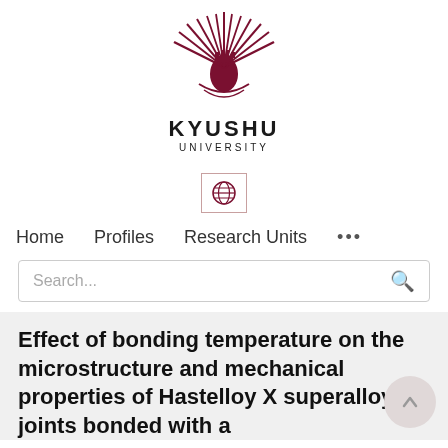[Figure (logo): Kyushu University logo — a stylized sunburst/phoenix emblem in dark red/maroon with a crown-like top, with text KYUSHU UNIVERSITY below]
[Figure (other): Small bordered box containing a globe/world icon]
Home   Profiles   Research Units   ...
Search...
Effect of bonding temperature on the microstructure and mechanical properties of Hastelloy X superalloy joints bonded with a